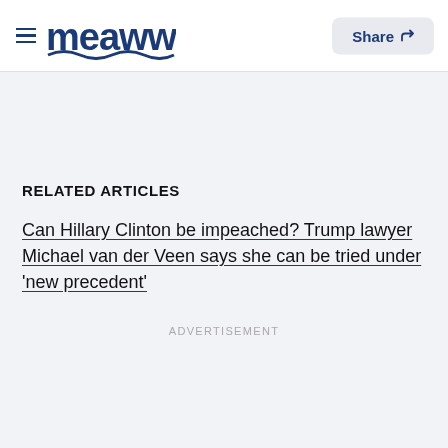Meaww | Share
RELATED ARTICLES
Can Hillary Clinton be impeached? Trump lawyer Michael van der Veen says she can be tried under 'new precedent'
ADVERTISEMENT